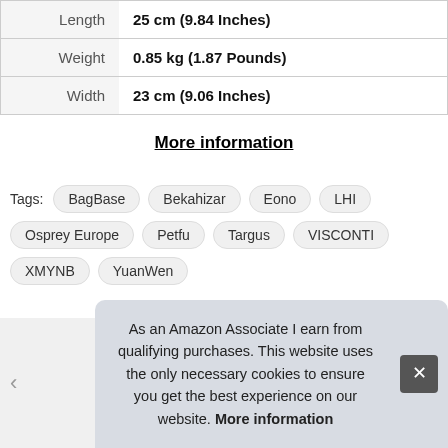|  |  |
| --- | --- |
| Length | 25 cm (9.84 Inches) |
| Weight | 0.85 kg (1.87 Pounds) |
| Width | 23 cm (9.06 Inches) |
More information
Tags: BagBase  Bekahizar  Eono  LHI  Osprey Europe  Petfu  Targus  VISCONTI  XMYNB  YuanWen
As an Amazon Associate I earn from qualifying purchases. This website uses the only necessary cookies to ensure you get the best experience on our website. More information